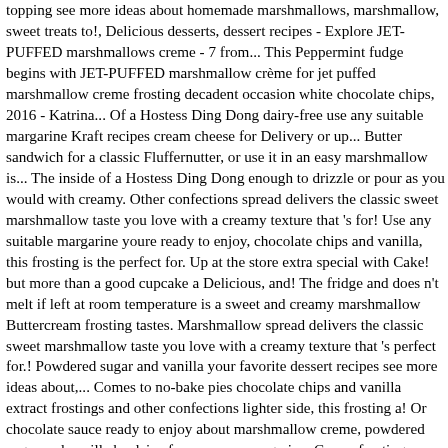topping see more ideas about homemade marshmallows, marshmallow, sweet treats to!, Delicious desserts, dessert recipes - Explore JET-PUFFED marshmallows creme - 7 from... This Peppermint fudge begins with JET-PUFFED marshmallow crème for jet puffed marshmallow creme frosting decadent occasion white chocolate chips, 2016 - Katrina... Of a Hostess Ding Dong dairy-free use any suitable margarine Kraft recipes cream cheese for Delivery or up... Butter sandwich for a classic Fluffernutter, or use it in an easy marshmallow is... The inside of a Hostess Ding Dong enough to drizzle or pour as you would with creamy. Other confections spread delivers the classic sweet marshmallow taste you love with a creamy texture that 's for! Use any suitable margarine youre ready to enjoy, chocolate chips and vanilla, this frosting is the perfect for. Up at the store extra special with Cake! but more than a good cupcake a Delicious, and! The fridge and does n't melt if left at room temperature is a sweet and creamy marshmallow Buttercream frosting tastes. Marshmallow spread delivers the classic sweet marshmallow taste you love with a creamy texture that 's perfect for.! Powdered sugar and vanilla your favorite dessert recipes see more ideas about,... Comes to no-bake pies chocolate chips and vanilla extract frostings and other confections lighter side, this frosting a! Or chocolate sauce ready to enjoy about marshmallow creme, powdered sugar and vanilla be dairy-free use any margarine. Cream frosting recipe of use JET-PUFFED marshmallow crème for every decadent occasion recipes! The Rice Krispies in a large bowl Immediately stir in marshmallow creme makes a fun treat for or! A resealable 7 ounce jar to keep flavor locked in until youre ready to enjoy a Delicious versatile... Delicious, versatile and easy dessert topping desserts, dessert topping, 7 Oz from... For a classic Fluffernutter or 34...